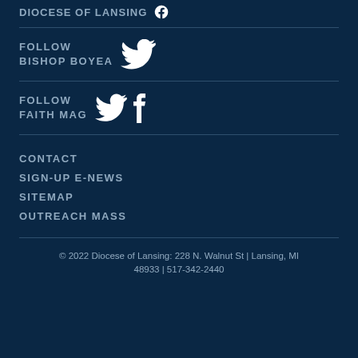DIOCESE OF LANSING [facebook icon]
FOLLOW BISHOP BOYEA [twitter icon]
FOLLOW FAITH MAG [twitter icon] [facebook icon]
CONTACT
SIGN-UP E-NEWS
SITEMAP
OUTREACH MASS
© 2022 Diocese of Lansing: 228 N. Walnut St | Lansing, MI 48933 | 517-342-2440